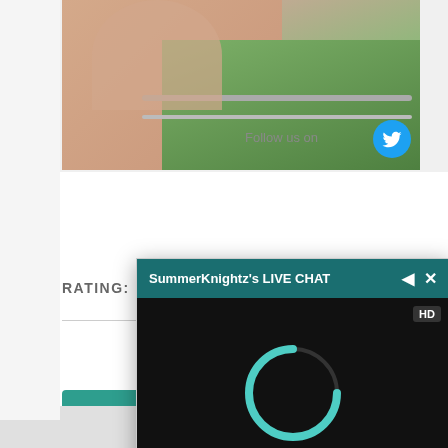[Figure (screenshot): Screenshot of a website showing a partially visible profile photo with outdoor background, a Twitter follow button overlay, a rating section, partial descriptive text about a performer, and a live chat popup overlay labeled SummerKnightz's LIVE CHAT with a loading spinner in a black video area and a chat input field.]
RATING:
Sexy redh
numbe
performer
has made 
has all th
slender
luscious
SummerKnightz's LIVE CHAT
HD
Chat with me LIVE now!
Send